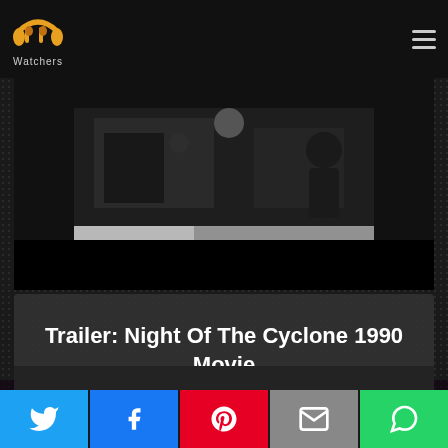[Figure (logo): PP Watchers logo — orange stylized 'PP' headphone icon with 'Watchers' text below]
[Figure (screenshot): Video still/thumbnail showing a dark scene from Night Of The Cyclone 1990 movie]
Trailer: Night Of The Cyclone 1990 Movie
[Figure (screenshot): Partial second video thumbnail at bottom of page]
[Figure (infographic): Social share bar with Twitter, Facebook, Pinterest, Email, and WhatsApp buttons]